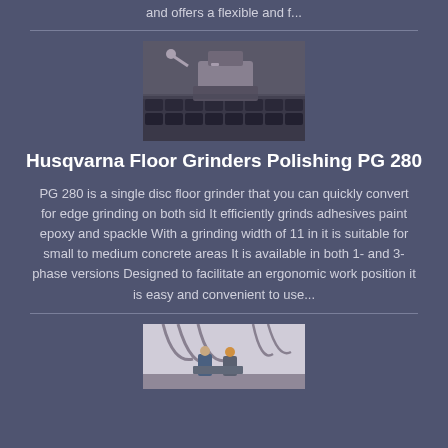and offers a flexible and f...
[Figure (photo): Close-up photo of a floor grinding machine in operation on a surface]
Husqvarna Floor Grinders Polishing PG 280
PG 280 is a single disc floor grinder that you can quickly convert for edge grinding on both sid It efficiently grinds adhesives paint epoxy and spackle With a grinding width of 11 in it is suitable for small to medium concrete areas It is available in both 1- and 3-phase versions Designed to facilitate an ergonomic work position it is easy and convenient to use...
[Figure (photo): Photo of workers or technicians with industrial equipment in a facility]